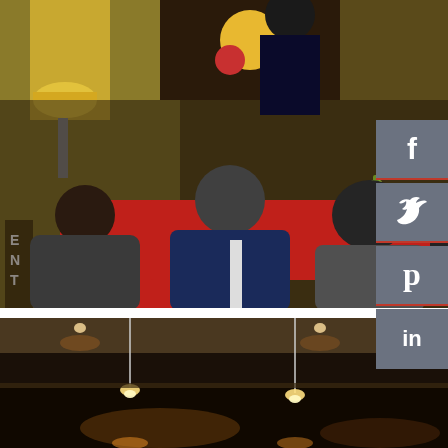[Figure (photo): Group of people sitting around a red table in a lounge/bar setting, playing a board game with bottles and glasses on the table. Red chairs, warm lamp light, colorful artwork on wall in background. Social media share buttons (Facebook, Twitter, Pinterest, LinkedIn) overlaid on the right side.]
[Figure (photo): Interior of a dark room or space with pendant lights hanging from the ceiling, illuminating a dark floor below. Warm ambient lighting.]